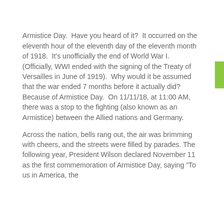Armistice Day.  Have you heard of it?  It occurred on the eleventh hour of the eleventh day of the eleventh month of 1918.  It's unofficially the end of World War I.  (Officially, WWI ended with the signing of the Treaty of Versailles in June of 1919).  Why would it be assumed that the war ended 7 months before it actually did?  Because of Armistice Day.  On 11/11/18, at 11:00 AM, there was a stop to the fighting (also known as an Armistice) between the Allied nations and Germany.
Across the nation, bells rang out, the air was brimming with cheers, and the streets were filled by parades. The following year, President Wilson declared November 11 as the first commemoration of Armistice Day, saying “To us in America, the